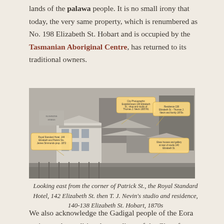lands of the palawa people. It is no small irony that today, the very same property, which is renumbered as No. 198 Elizabeth St. Hobart and is occupied by the Tasmanian Aboriginal Centre, has returned to its traditional owners.
[Figure (photo): Historical black and white photograph looking east from the corner of Patrick St., showing the Royal Standard Hotel at 142 Elizabeth St., and T.J. Nevin's studio and residence at 140-138 Elizabeth St. Hobart, 1870s. Several annotation bubbles label: City Photographic Establishment 140 Elizabeth St.; Residence 138 Elizabeth St. Thomas J. Nevin and family 1870s; Royal Standard Hotel 144 Elizabeth and Patrick St., James Simmonds prop. 1872; Glass houses and gallery at rear of studio 140 Elizabeth St.]
Looking east from the corner of Patrick St., the Royal Standard Hotel, 142 Elizabeth St. then T. J. Nevin's studio and residence, 140-138 Elizabeth St. Hobart, 1870s
We also acknowledge the Gadigal people of the Eora nation as the traditional custodians of the City of Sydney, and the Ngunnawal people of the Australian Capital Territory: